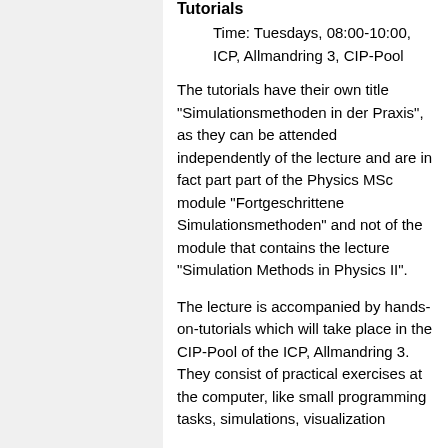Tutorials
Time: Tuesdays, 08:00-10:00, ICP, Allmandring 3, CIP-Pool
The tutorials have their own title "Simulationsmethoden in der Praxis", as they can be attended independently of the lecture and are in fact part part of the Physics MSc module "Fortgeschrittene Simulationsmethoden" and not of the module that contains the lecture "Simulation Methods in Physics II".
The lecture is accompanied by hands-on-tutorials which will take place in the CIP-Pool of the ICP, Allmandring 3. They consist of practical exercises at the computer, like small programming tasks, simulations, visualization